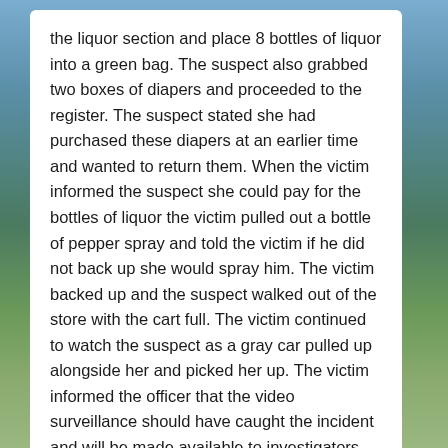the liquor section and place 8 bottles of liquor into a green bag. The suspect also grabbed two boxes of diapers and proceeded to the register. The suspect stated she had purchased these diapers at an earlier time and wanted to return them. When the victim informed the suspect she could pay for the bottles of liquor the victim pulled out a bottle of pepper spray and told the victim if he did not back up she would spray him. The victim backed up and the suspect walked out of the store with the cart full. The victim continued to watch the suspect as a gray car pulled up alongside her and picked her up. The victim informed the officer that the video surveillance should have caught the incident and will be made available to investigators upon their request. Report 120505104